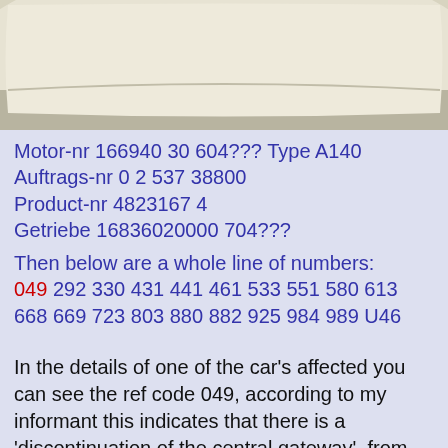[Figure (photo): Top portion of a document page showing a curved paper or card with beige/cream coloring against a lighter background]
Motor-nr 166940 30 604??? Type A140
Auftrags-nr 0 2 537 38800
Product-nr 4823167 4
Getriebe 16836020000 704???
Then below are a whole line of numbers:
049 292 330 431 441 461 533 551 580 613
668 669 723 803 880 882 925 984 989 U46
In the details of one of the car's affected you can see the ref code 049, according to my informant this indicates that there is a 'discontinuation of the central gateway', from what I can gather, which is very little